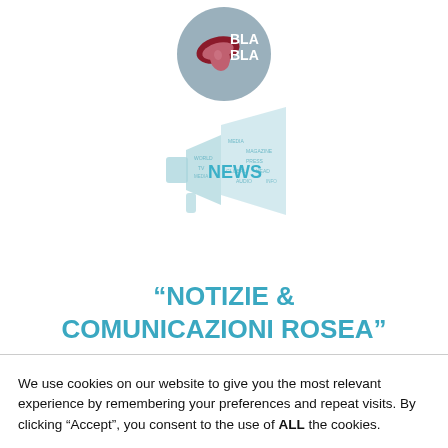[Figure (logo): BLA BLA logo: a circular grey badge with a stylized mouth/tongue graphic in dark red/pink and the text BLA BLA in white]
[Figure (illustration): A megaphone/loudspeaker illustration made of word-cloud text in light teal/blue, with the word NEWS prominently displayed in bold teal in the center]
“NOTIZIE & COMUNICAZIONI ROSEA”
We use cookies on our website to give you the most relevant experience by remembering your preferences and repeat visits. By clicking “Accept”, you consent to the use of ALL the cookies.
Cookie settings  ACCEPT